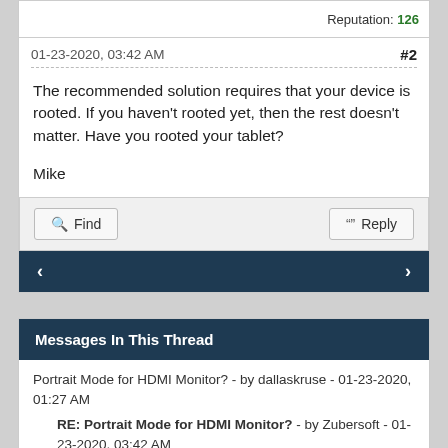Reputation: 126
01-23-2020, 03:42 AM
#2
The recommended solution requires that your device is rooted. If you haven't rooted yet, then the rest doesn't matter. Have you rooted your tablet?
Mike
Find
Reply
Messages In This Thread
Portrait Mode for HDMI Monitor? - by dallaskruse - 01-23-2020, 01:27 AM
RE: Portrait Mode for HDMI Monitor? - by Zubersoft - 01-23-2020, 03:42 AM